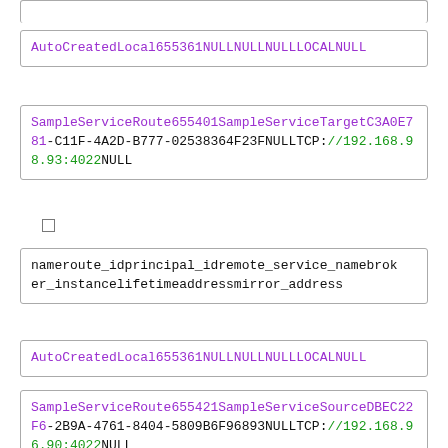[Figure (screenshot): Partial code box at top, cut off]
AutoCreatedLocal655361NULLNULLNULLLOCALNULL
SampleServiceRoute655401SampleServiceTargetC3A0E781-C11F-4A2D-B777-02538364F23FNULLTCP://192.168.98.93:4022NULL
[Figure (screenshot): Small checkbox/square icon]
nameroute_idprincipal_idremote_service_namebroker_instancelifetimeaddressmirror_address
AutoCreatedLocal655361NULLNULLNULLLOCALNULL
SampleServiceRoute655421SampleServiceSourceDBEC22F6-2B9A-4761-8404-5809B6F96893NULLTCP://192.168.96.90:4022NULL